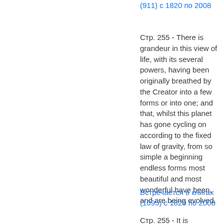(911) с 1820 по 2008
Стр. 255 - There is grandeur in this view of life, with its several powers, having been originally breathed by the Creator into a few forms or into one; and that, whilst this planet has gone cycling on according to the fixed law of gravity, from so simple a beginning endless forms most beautiful and most wonderful have been, and are being evolved.
Встречается в книгах (1095) с 1820 по 2008
Стр. 255 - It is interesting to